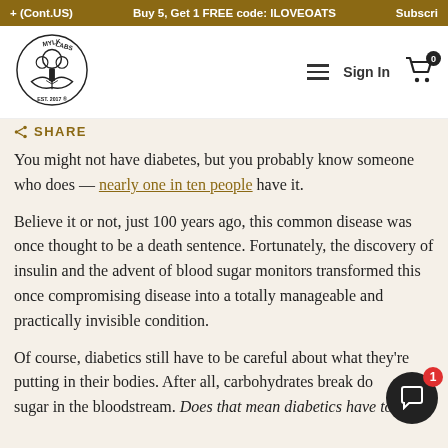+ (Cont.US)   Buy 5, Get 1 FREE code: ILOVEOATS   Subscri...
[Figure (logo): Mylk Labs logo with tree and leaves, EST. 2017]
SHARE
You might not have diabetes, but you probably know someone who does — nearly one in ten people have it.
Believe it or not, just 100 years ago, this common disease was once thought to be a death sentence. Fortunately, the discovery of insulin and the advent of blood sugar monitors transformed this once compromising disease into a totally manageable and practically invisible condition.
Of course, diabetics still have to be careful about what they're putting in their bodies. After all, carbohydrates break down into sugar in the bloodstream. Does that mean diabetics have to avoid